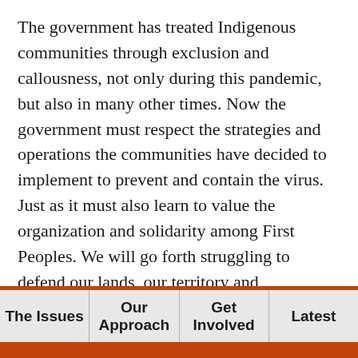The government has treated Indigenous communities through exclusion and callousness, not only during this pandemic, but also in many other times. Now the government must respect the strategies and operations the communities have decided to implement to prevent and contain the virus. Just as it must also learn to value the organization and solidarity among First Peoples. We will go forth struggling to defend our lands, our territory and autonomy.  And we will resist as we have done for so many years. At the same time, the government should begin to formulate public policy, projects and programs to guarantee, as required by the constitution,  well-being for the Peoples who
The Issues | Our Approach | Get Involved | Latest